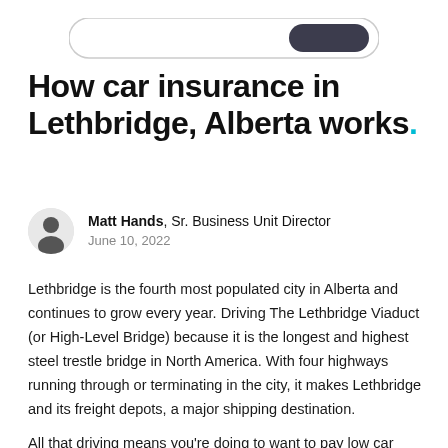[Figure (screenshot): Partial screenshot of a search or navigation bar UI element at the top of the page]
How car insurance in Lethbridge, Alberta works.
Matt Hands, Sr. Business Unit Director
June 10, 2022
Lethbridge is the fourth most populated city in Alberta and continues to grow every year. Driving The Lethbridge Viaduct (or High-Level Bridge) because it is the longest and highest steel trestle bridge in North America. With four highways running through or terminating in the city, it makes Lethbridge and its freight depots, a major shipping destination.
All that driving means you're doing to want to pay low car